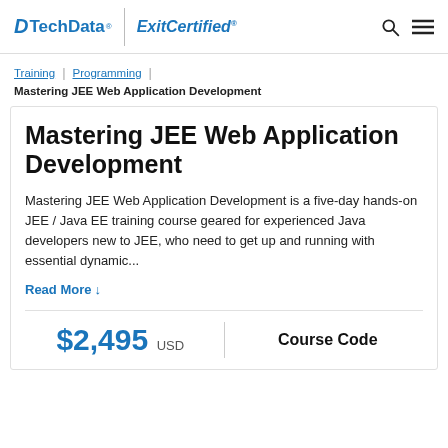[Figure (logo): TechData and ExitCertified logos in header with search and menu icons]
Training | Programming |
Mastering JEE Web Application Development
Mastering JEE Web Application Development
Mastering JEE Web Application Development is a five-day hands-on JEE / Java EE training course geared for experienced Java developers new to JEE, who need to get up and running with essential dynamic...
Read More ↓
$2,495 USD
Course Code